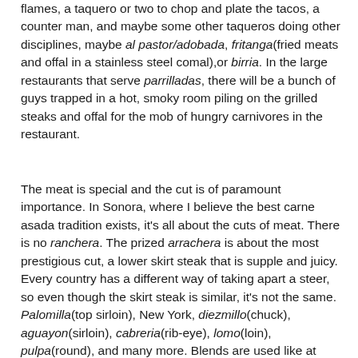flames, a taquero or two to chop and plate the tacos, a counter man, and maybe some other taqueros doing other disciplines, maybe al pastor/adobada, fritanga(fried meats and offal in a stainless steel comal),or birria. In the large restaurants that serve parrilladas, there will be a bunch of guys trapped in a hot, smoky room piling on the grilled steaks and offal for the mob of hungry carnivores in the restaurant.
The meat is special and the cut is of paramount importance. In Sonora, where I believe the best carne asada tradition exists, it's all about the cuts of meat. There is no ranchera. The prized arrachera is about the most prestigious cut, a lower skirt steak that is supple and juicy. Every country has a different way of taking apart a steer, so even though the skirt steak is similar, it's not the same. Palomilla(top sirloin), New York, diezmillo(chuck), aguayon(sirloin), cabreria(rib-eye), lomo(loin), pulpa(round), and many more. Blends are used like at Tacos Jass in Hermosillo, Sonora, where the house steak blend for carne asada is comprised of palomilla, New York steak, and diezmillo. The taquero should be able to tell